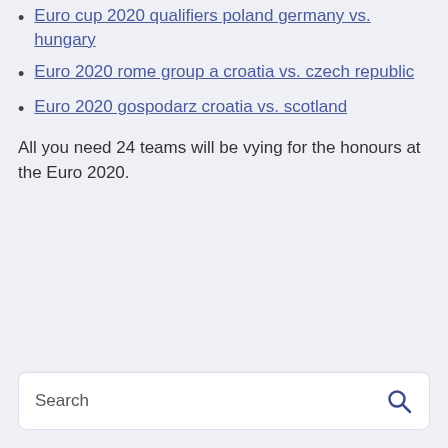Euro cup 2020 qualifiers poland germany vs. hungary
Euro 2020 rome group a croatia vs. czech republic
Euro 2020 gospodarz croatia vs. scotland
All you need 24 teams will be vying for the honours at the Euro 2020.